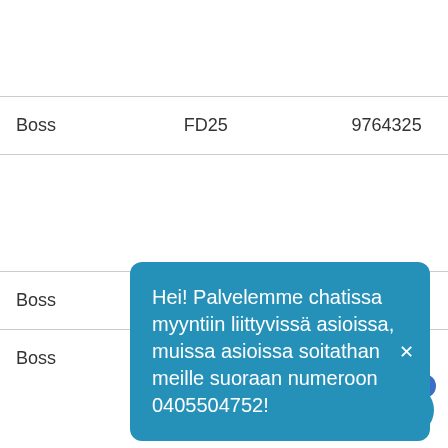| Boss | FD25 | 9764325 |
| Boss |  |  |
| Boss |  |  |
Hei! Palvelemme chatissa myyntiin liittyvissä asioissa, muissa asioissa soitathan meille suoraan numeroon 0405504752!